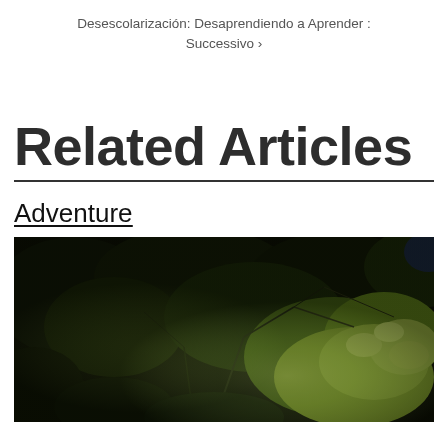Desescolarización: Desaprendiendo a Aprender : Successivo ›
Related Articles
Adventure
[Figure (photo): Night-time photograph of trees and foliage illuminated against a dark background, showing green leaves lit from below with branches visible.]